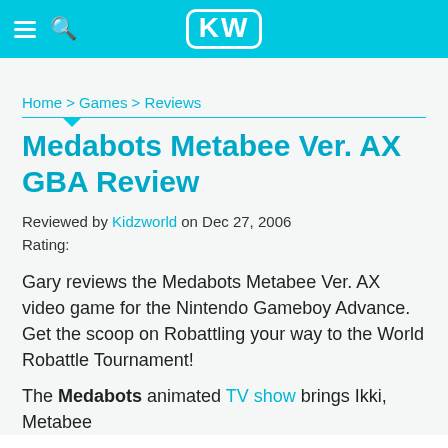KW
Home > Games > Reviews
Medabots Metabee Ver. AX GBA Review
Reviewed by Kidzworld on Dec 27, 2006
Rating:
Gary reviews the Medabots Metabee Ver. AX video game for the Nintendo Gameboy Advance. Get the scoop on Robattling your way to the World Robattle Tournament!
The Medabots animated TV show brings Ikki, Metabee...